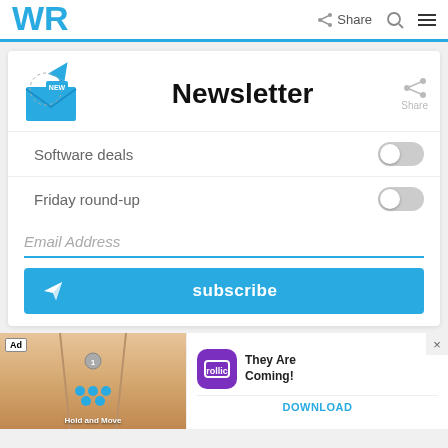WR  Share
Newsletter
Software deals
Friday round-up
Email Address
subscribe
[Figure (screenshot): Ad banner showing a mobile game 'Hold and Move' with bowling-lane gameplay and the Rollic app promoting 'They Are Coming!' with a Download button]